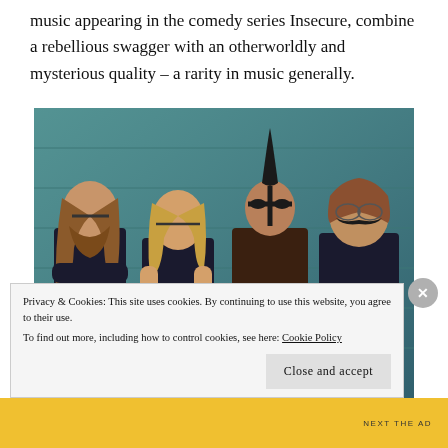music appearing in the comedy series Insecure, combine a rebellious swagger with an otherworldly and mysterious quality – a rarity in music generally.
[Figure (photo): Four members of a metal band standing in front of a teal/green wall. All have face paint and are wearing dark clothing. From left: man with long hair and beard with arms crossed, man with medium blonde hair, man with mohawk hairstyle, man on far right. All have tribal face markings.]
Privacy & Cookies: This site uses cookies. By continuing to use this website, you agree to their use.
To find out more, including how to control cookies, see here: Cookie Policy
Close and accept